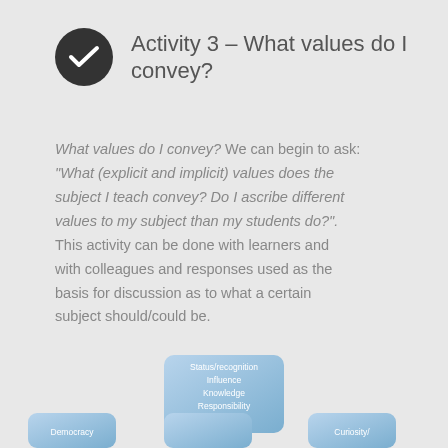Activity 3 – What values do I convey?
What values do I convey? We can begin to ask: "What (explicit and implicit) values does the subject I teach convey? Do I ascribe different values to my subject than my students do?". This activity can be done with learners and with colleagues and responses used as the basis for discussion as to what a certain subject should/could be.
[Figure (flowchart): Flowchart showing a top box with values: Status/recognition, Influence, Knowledge, Responsibility, Self-reliance. Below it connects to three boxes at the bottom: Democracy (left), a middle box (partially visible), and Curiosity (right, partially visible).]